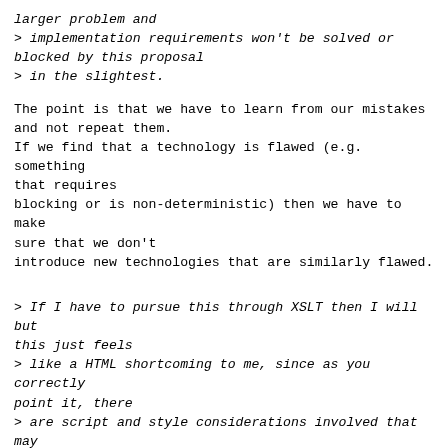larger problem and
> implementation requirements won't be solved or
blocked by this proposal
> in the slightest.
The point is that we have to learn from our mistakes
and not repeat them.
If we find that a technology is flawed (e.g. something
that requires
blocking or is non-deterministic) then we have to make
sure that we don't
introduce new technologies that are similarly flawed.
> If I have to pursue this through XSLT then I will but
this just feels
> like a HTML shortcoming to me, since as you correctly
point it, there
> are script and style considerations involved that may
be specific to
> HTML as a rendering protocol.
The seamless iframes proposal, as far as I can tell,
addresses the vast
majority of the use cases you have put forward, without
having many of the
problems of your proposal. The only thing it doesn't do
as far as I can
tell is put the DOM inside the original page in an
undistinguishable